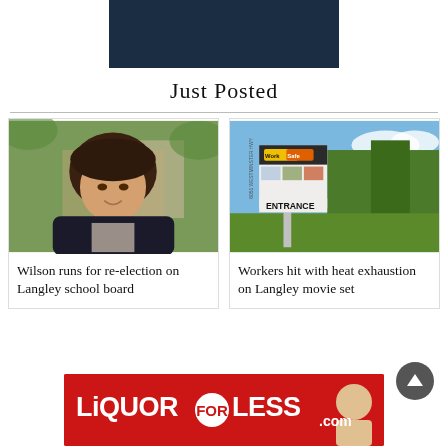[Figure (other): Dark navy rectangular banner at top of page]
Just Posted
[Figure (photo): Headshot of a woman with dark hair wearing a dark blazer, outdoors with green foliage background]
Wilson runs for re-election on Langley school board
[Figure (photo): Sign reading 'ENTRANCE' with WorkSafeBC signage at 6051 Westminster Hwy, with trees and blue sky background]
Workers hit with heat exhaustion on Langley movie set
[Figure (other): LiquorForLess.com advertisement banner in red with white text and person illustration]